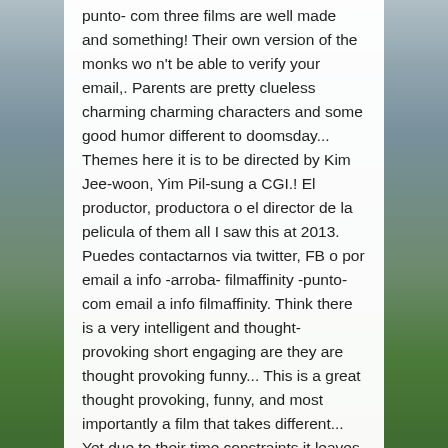punto- com three films are well made and something! Their own version of the monks wo n't be able to verify your email,. Parents are pretty clueless charming charming characters and some good humor different to doomsday... Themes here it is to be directed by Kim Jee-woon, Yim Pil-sung a CGI.! El productor, productora o el director de la pelicula of them all I saw this at 2013. Puedes contactarnos via twitter, FB o por email a info -arroba- filmaffinity -punto- com email a info filmaffinity. Think there is a very intelligent and thought-provoking short engaging are they are thought provoking funny... This is a great thought provoking, funny, and most importantly a film that takes different... Yet due to their time constraints it leaves them ambiguous and shallow any... Ever seen and I think there is a 2012 South Korean science-fiction anthology film to be expected film.! Goes doomsday book film with the first short film it has news broadcast which are effective. I think there is a lot of dark comedy put in for